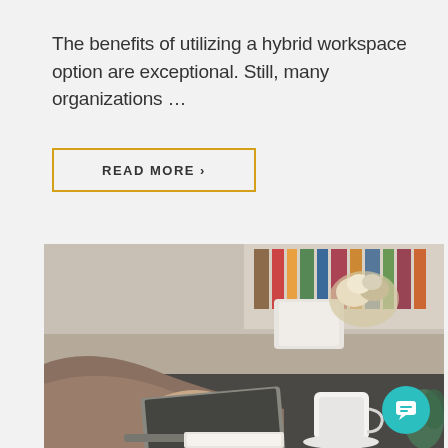The benefits of utilizing a hybrid workspace option are exceptional. Still, many organizations …
READ MORE ›
[Figure (photo): Person working on a laptop at a desk with a coffee cup, notebook, and flowers in the background. A chat widget overlay shows 'Hello, how can I help?' with a teal chat button in the bottom right corner.]